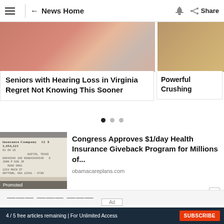≡ | ← News Home 🔔 Share
[Figure (screenshot): Carousel card showing partial image of skin/ear and headline: Seniors with Hearing Loss in Virginia Regret Not Knowing This Sooner. Second card partially visible with text: Powerful Crushing]
Seniors with Hearing Loss in Virginia Regret Not Knowing This Sooner
Powerful Crushing
[Figure (photo): Thumbnail image of a person's face (close-up, man covering face) with an insurance document overlay showing 'Insurance Company' header and address details in Austin, Texas. 'Promoted' label at bottom.]
Congress Approves $1/day Health Insurance Giveback Program for Millions of...
obamacareplans.com
×
Ad
4 / 5 free articles remaining | For Unlimited Access SUBSCRIBE